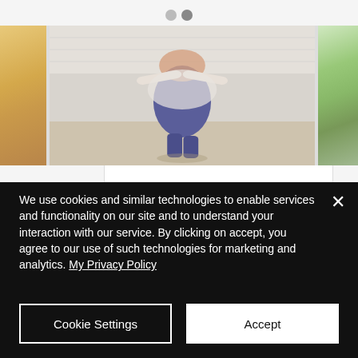[Figure (screenshot): Website screenshot showing a carousel of fitness/lifestyle images. Left partial image shows warm orange/yellow tones. Center image shows a person in a blue dress doing a handstand or stretching pose outdoors against a white wall. Right partial image shows green outdoor/park scene. Two carousel navigation dots appear at top center.]
Holiday workout ideas
We use cookies and similar technologies to enable services and functionality on our site and to understand your interaction with our service. By clicking on accept, you agree to our use of such technologies for marketing and analytics. My Privacy Policy